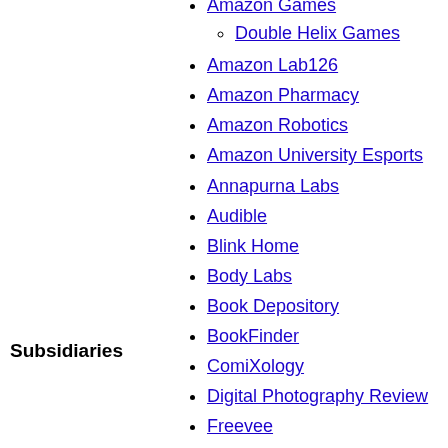Subsidiaries
Amazon Games
Double Helix Games
Amazon Lab126
Amazon Pharmacy
Amazon Robotics
Amazon University Esports
Annapurna Labs
Audible
Blink Home
Body Labs
Book Depository
BookFinder
ComiXology
Digital Photography Review
Freevee
Fresh
Goodreads
Goodreads Choice Awards
Graphiq
IMDb
IMDbPro